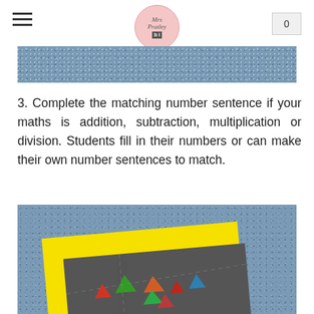Mrs Pratley - logo and cart button with 0
[Figure (photo): Top portion of a blue speckled carpet texture]
3. Complete the matching number sentence if your maths is addition, subtraction, multiplication or division. Students fill in their numbers or can make their own number sentences to match.
[Figure (photo): Photo of colorful geometric shape manipulatives (triangles in red, green, orange) on a dark mat with yellow border, placed on blue speckled carpet]